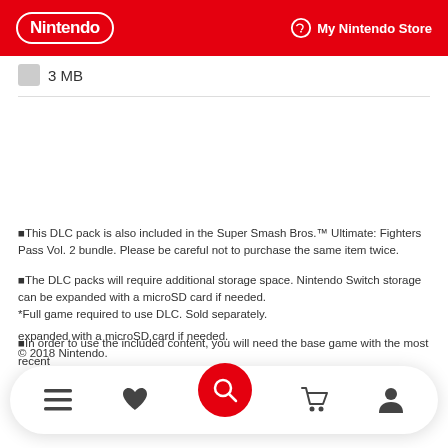Nintendo | My Nintendo Store
3 MB
■This DLC pack is also included in the Super Smash Bros.™ Ultimate: Fighters Pass Vol. 2 bundle. Please be careful not to purchase the same item twice.
■The DLC packs will require additional storage space. Nintendo Switch storage can be expanded with a microSD card if needed.
*Full game required to use DLC. Sold separately.
■In order to use the included content, you will need the base game with the most recent update.
expanded with a microSD card if needed.
© 2018 Nintendo.